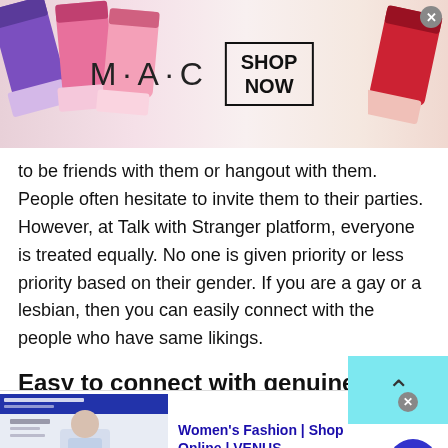[Figure (screenshot): MAC Cosmetics advertisement banner showing colorful lipsticks on left and right with MAC logo and SHOP NOW button in center]
to be friends with them or hangout with them. People often hesitate to invite them to their parties. However, at Talk with Stranger platform, everyone is treated equally. No one is given priority or less priority based on their gender. If you are a gay or a lesbian, then you can easily connect with the people who have same likings.
Easy to connect with genuine people
Since you will already be aware of all its details, it
[Figure (screenshot): VENUS women's fashion advertisement banner with website screenshot thumbnail, title, description, and arrow button]